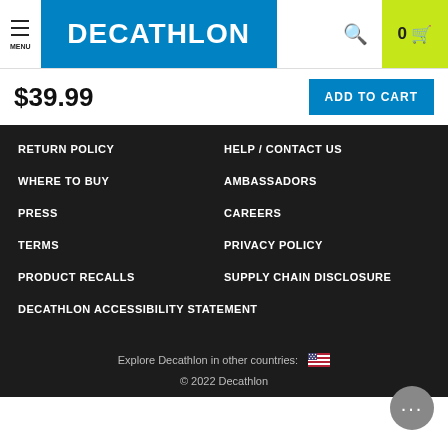MENU | DECATHLON | 0 (cart)
$39.99
ADD TO CART
RETURN POLICY
HELP / CONTACT US
WHERE TO BUY
AMBASSADORS
PRESS
CAREERS
TERMS
PRIVACY POLICY
PRODUCT RECALLS
SUPPLY CHAIN DISCLOSURE
DECATHLON ACCESSIBILITY STATEMENT
Explore Decathlon in other countries: 🇺🇸
© 2022 Decathlon